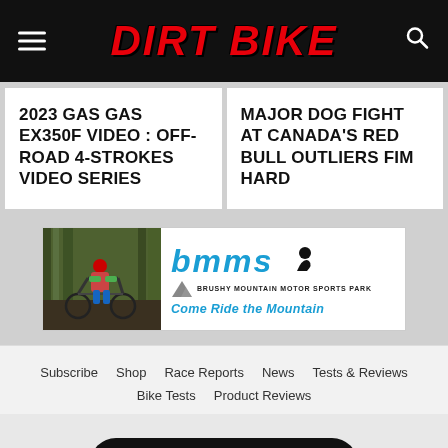DIRT BIKE
2023 GAS GAS EX350F VIDEO : OFF-ROAD 4-STROKES VIDEO SERIES
MAJOR DOG FIGHT AT CANADA'S RED BULL OUTLIERS FIM HARD
[Figure (photo): Advertisement for Brushy Mountain Motor Sports Park showing a dirt bike rider in forest terrain with BMMS logo and tagline 'Come Ride the Mountain']
Subscribe
Shop
Race Reports
News
Tests & Reviews
Bike Tests
Product Reviews
View Desktop Version